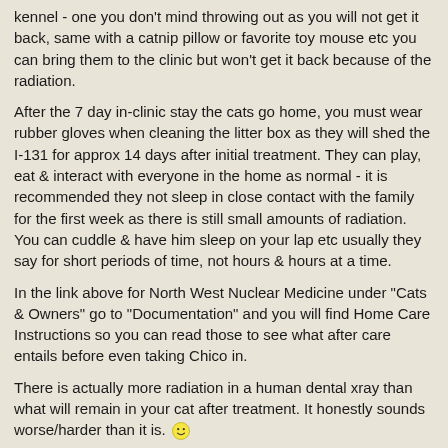kennel - one you don't mind throwing out as you will not get it back, same with a catnip pillow or favorite toy mouse etc you can bring them to the clinic but won't get it back because of the radiation.
After the 7 day in-clinic stay the cats go home, you must wear rubber gloves when cleaning the litter box as they will shed the I-131 for approx 14 days after initial treatment. They can play, eat & interact with everyone in the home as normal - it is recommended they not sleep in close contact with the family for the first week as there is still small amounts of radiation. You can cuddle & have him sleep on your lap etc usually they say for short periods of time, not hours & hours at a time.
In the link above for North West Nuclear Medicine under "Cats & Owners" go to "Documentation" and you will find Home Care Instructions so you can read those to see what after care entails before even taking Chico in.
There is actually more radiation in a human dental xray than what will remain in your cat after treatment. It honestly sounds worse/harder than it is. 🙂
Feel free to post any questions here or to me by pm 🙂
Avoid biting when a simple growl will do
The Spirit Lives As Long As Someone Who Lives Remembers You - Navaho Saying